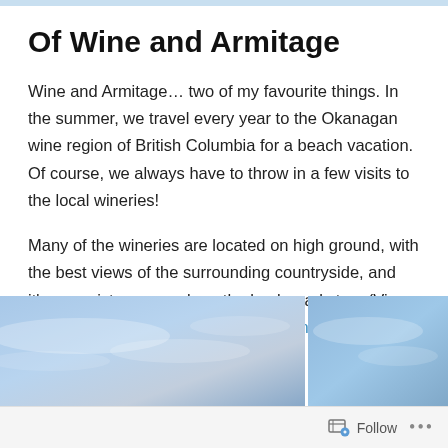Of Wine and Armitage
Wine and Armitage… two of my favourite things. In the summer, we travel every year to the Okanagan wine region of British Columbia for a beach vacation. Of course, we always have to throw in a few visits to the local wineries!
Many of the wineries are located on high ground, with the best views of the surrounding countryside, and it's very picturesque along the back roads too. (Views from Tinhorn Creek and from Burrowing Owl.)
[Figure (photo): Two side-by-side photos showing blue sky views, partially visible at the bottom of the page — left image wider, right image narrower, both showing light blue sky with wispy clouds.]
Follow ...